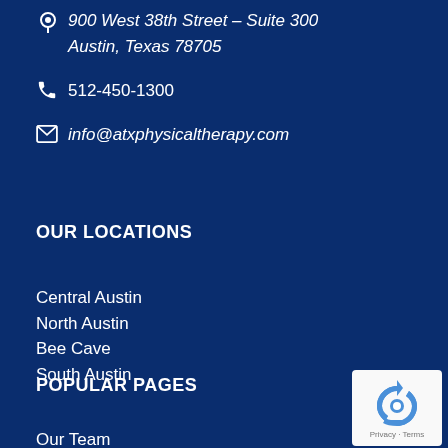900 West 38th Street – Suite 300
Austin, Texas 78705
512-450-1300
info@atxphysicaltherapy.com
OUR LOCATIONS
Central Austin
North Austin
Bee Cave
South Austin
POPULAR PAGES
Our Team
[Figure (logo): reCAPTCHA badge with Privacy and Terms links]